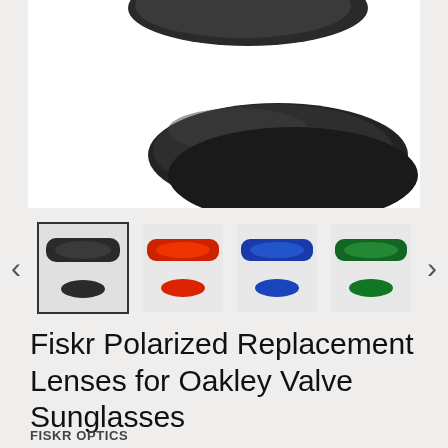[Figure (photo): Two dark/black replacement sunglass lenses stacked on white background]
[Figure (photo): Thumbnail gallery row showing four color variants of replacement lenses with left/right navigation arrows]
Fiskr Polarized Replacement Lenses for Oakley Valve Sunglasses
FISKR OPTICS